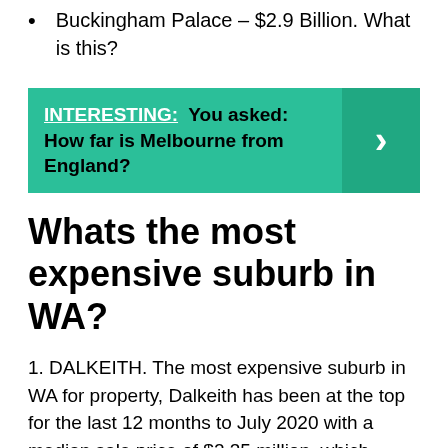Buckingham Palace – $2.9 Billion. What is this?
[Figure (infographic): Teal/green banner with bold text: INTERESTING: You asked: How far is Melbourne from England? with a right-arrow chevron button on the right side.]
Whats the most expensive suburb in WA?
1. DALKEITH. The most expensive suburb in WA for property, Dalkeith has been at the top for the last 12 months to July 2020 with a median sale price of $2.35 million, which represents growth of 4.4%.
Is Cottesloe rich?